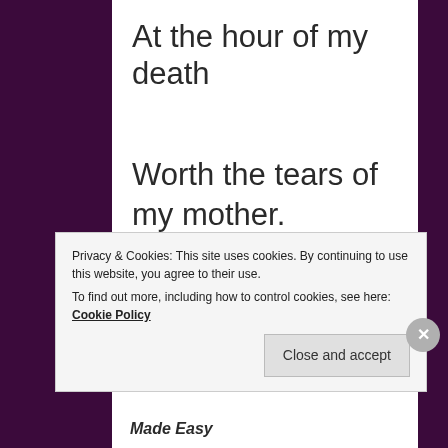At the hour of my death
Worth the tears of my mother.
And if I come back one day
Privacy & Cookies: This site uses cookies. By continuing to use this website, you agree to their use.
To find out more, including how to control cookies, see here: Cookie Policy
Close and accept
Made Easy